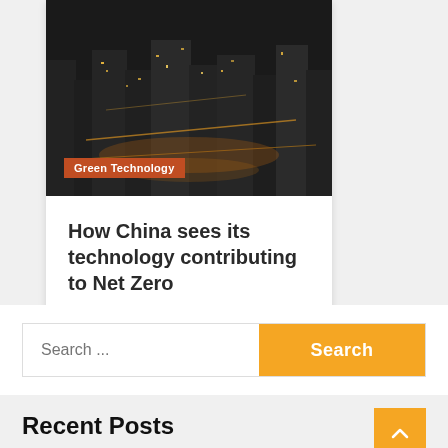[Figure (photo): Aerial night view of a city with illuminated streets and buildings, dark tones]
Green Technology
How China sees its technology contributing to Net Zero
1 month ago  Ivan Cross
Search ...
Recent Posts